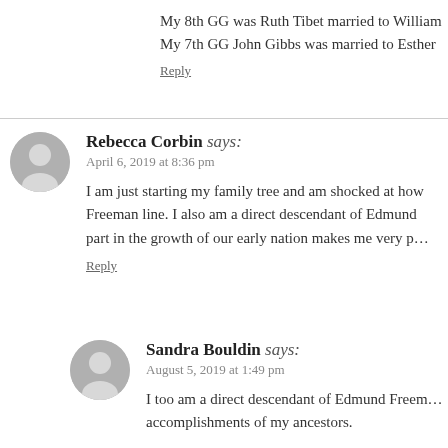My 8th GG was Ruth Tibet married to William... My 7th GG John Gibbs was married to Esther...
Reply
Rebecca Corbin says: April 6, 2019 at 8:36 pm
I am just starting my family tree and am shocked at how... Freeman line. I also am a direct descendant of Edmund... part in the growth of our early nation makes me very p...
Reply
Sandra Bouldin says: August 5, 2019 at 1:49 pm
I too am a direct descendant of Edmund Freem... accomplishments of my ancestors.